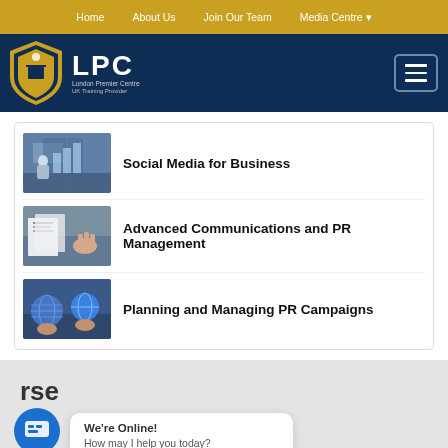Home | About Us | Join Our Team | Media Centre
[Figure (logo): LPC London Premier Centre logo with shield emblem on dark blue header with hamburger menu icon]
[Figure (photo): Social Media for Business course thumbnail - person at digital display]
Social Media for Business
[Figure (photo): Advanced Communications and PR Management course thumbnail - business meeting]
Advanced Communications and PR Management
[Figure (photo): Planning and Managing PR Campaigns course thumbnail - hands holding globe]
Planning and Managing PR Campaigns
We're Online! How may I help you today?